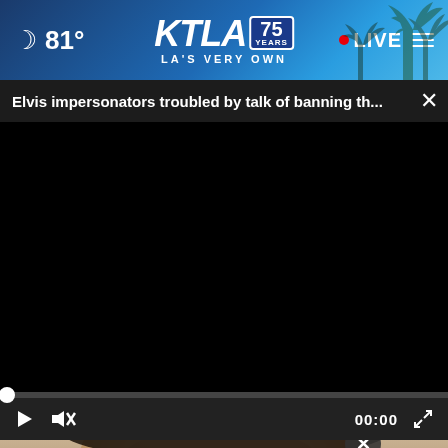[Figure (screenshot): KTLA 75 Years website header with moon icon, 81° temperature, KTLA 75 Years LA's Very Own logo, LIVE indicator, and hamburger menu. Background is blue gradient with palm tree silhouettes.]
Elvis impersonators troubled by talk of banning th...
[Figure (screenshot): Embedded video player showing a black video area with progress bar at bottom, play button, mute button, 00:00 time display, and fullscreen button. Below the player is a partial view of a person's face (close-up), with an ad banner for THESHELTERPETPROJECT.ORG overlaid at the bottom.]
THESHELTERPETPROJECT.ORG